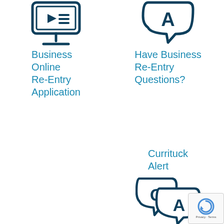[Figure (illustration): Dark navy blue icon of a computer monitor with a play button and a dash/list icon on the screen, with a monitor stand]
Business Online Re-Entry Application
[Figure (illustration): Dark navy blue Q&A speech bubble icon showing a large A bubble]
Have Business Re-Entry Questions?
Currituck Alert
[Figure (illustration): Dark navy blue Q&A speech bubble icon with Q and A in overlapping bubbles]
[Figure (logo): reCAPTCHA badge with circular arrow icon, Privacy and Terms text]